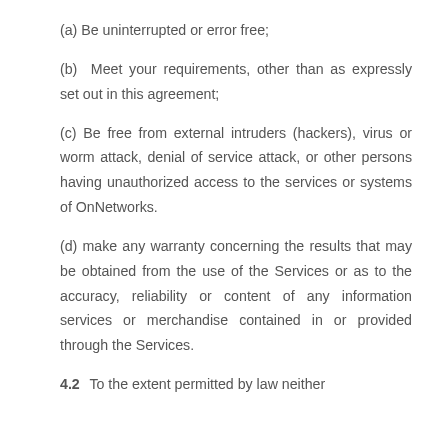(a) Be uninterrupted or error free;
(b) Meet your requirements, other than as expressly set out in this agreement;
(c) Be free from external intruders (hackers), virus or worm attack, denial of service attack, or other persons having unauthorized access to the services or systems of OnNetworks.
(d) make any warranty concerning the results that may be obtained from the use of the Services or as to the accuracy, reliability or content of any information services or merchandise contained in or provided through the Services.
4.2  To the extent permitted by law neither